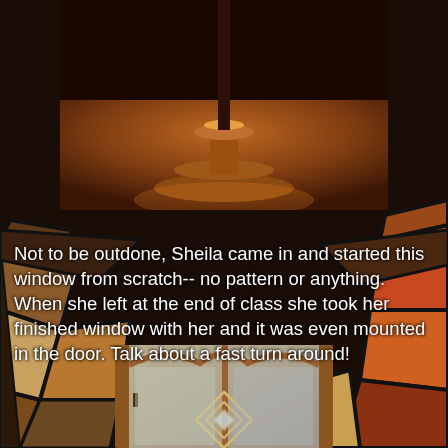[Figure (photo): Top photo showing a wooden candle holder or lamp base on a dark reddish-brown surface, with dark background]
[Figure (photo): Background image of colorful stained glass pieces in dark lead caming, visible on the sides and bottom portion of the page]
Not to be outdone, Sheila came in and started this window from scratch-- no pattern or anything. When she left at the end of class she took her finished window with her and it was even mounted in the door. Talk about a fast turn around!
[Figure (photo): Photo of a wooden door with a leaded glass window insert featuring a beveled diamond/geometric pattern, surrounded by stained glass pieces]